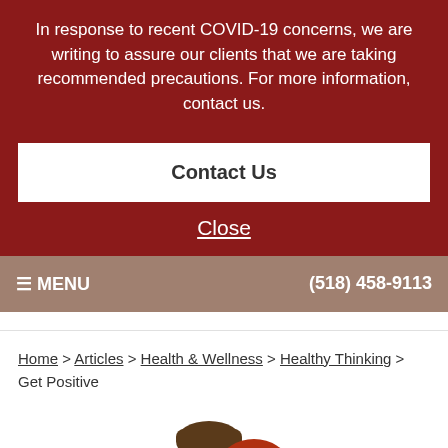In response to recent COVID-19 concerns, we are writing to assure our clients that we are taking recommended precautions. For more information, contact us.
Contact Us
Close
≡ MENU   (518) 458-9113
Home > Articles > Health & Wellness > Healthy Thinking > Get Positive
[Figure (photo): Photo of a smiling couple, man with brown hair and woman with red hair]